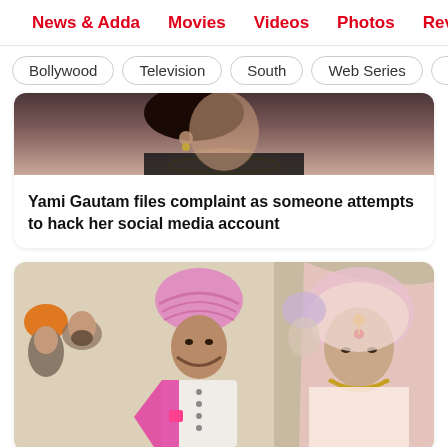News & Adda   Movies   Videos   Photos   Reviews   Box
Bollywood
Television
South
Web Series
Inte
[Figure (photo): Close-up of a woman in a black outfit with gold necklace, face partially visible]
Yami Gautam files complaint as someone attempts to hack her social media account
[Figure (photo): A Sikh wedding scene with a groom wearing a pink turban and white sherwani standing next to a bride wearing a pink dupatta and gold jewellery. Other turbaned guests visible in the background.]